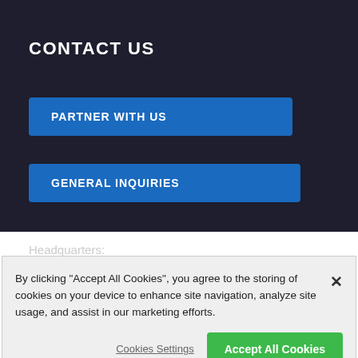CONTACT US
PARTNER WITH US
GENERAL INQUIRIES
Headquarters:
PO Box 14280
Washington, D.C. 20044
By clicking "Accept All Cookies", you agree to the storing of cookies on your device to enhance site navigation, analyze site usage, and assist in our marketing efforts.
Cookies Settings
Accept All Cookies